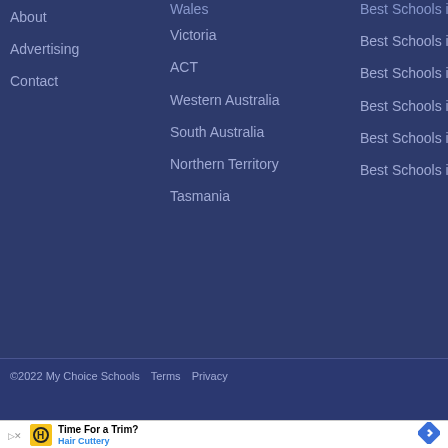About
Advertising
Contact
Wales
Victoria
ACT
Western Australia
South Australia
Northern Territory
Tasmania
Best Schools in Sydney
Best Schools in Melbourne
Best Schools in Perth
Best Schools in Adelaide
Best Schools in Darwin
Best Schools in Hobart
©2022 My Choice Schools   Terms   Privacy
[Figure (advertisement): Hair Cuttery advertisement with yellow logo icon, text 'Time For a Trim?' and 'Hair Cuttery' in blue, and a blue diamond navigation arrow icon on the right.]